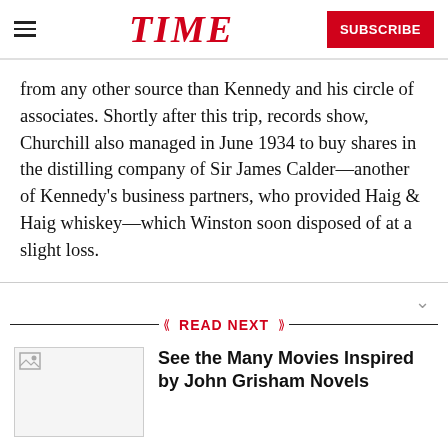TIME  SUBSCRIBE
from any other source than Kennedy and his circle of associates. Shortly after this trip, records show, Churchill also managed in June 1934 to buy shares in the distilling company of Sir James Calder—another of Kennedy's business partners, who provided Haig & Haig whiskey—which Winston soon disposed of at a slight loss.
READ NEXT
See the Many Movies Inspired by John Grisham Novels